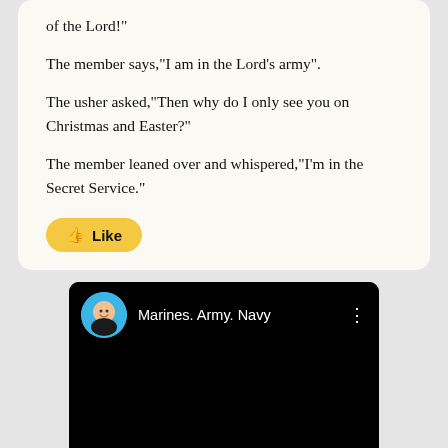of the Lord!"
The member says,"I am in the Lord's army".
The usher asked,"Then why do I only see you on Christmas and Easter?"
The member leaned over and whispered,"I'm in the Secret Service."
[Figure (screenshot): A yellow Like button with a thumbs up emoji icon and the word Like]
[Figure (screenshot): A video player header on black background showing a circular avatar of a smiling man and the title Marines. Army. Navy with a vertical three-dot menu icon]